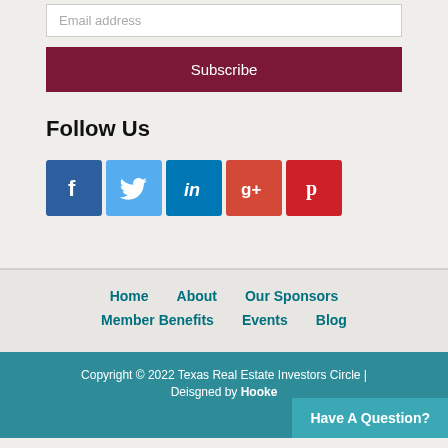Email address
Subscribe
Follow Us
[Figure (illustration): Five social media icons: Facebook (blue), Twitter (light blue), LinkedIn (dark teal), Google+ (orange-red), Pinterest (red)]
Home   About   Our Sponsors   Member Benefits   Events   Blog
Copyright © 2022 Texas Real Estate Investors Circle | Deisgned by Hooke... Have A Question?